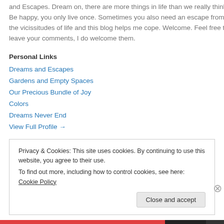and Escapes. Dream on, there are more things in life than we really think. Be happy, you only live once. Sometimes you also need an escape from the vicissitudes of life and this blog helps me cope. Welcome. Feel free to leave your comments, I do welcome them.
Personal Links
Dreams and Escapes
Gardens and Empty Spaces
Our Precious Bundle of Joy
Colors
Dreams Never End
View Full Profile →
Privacy & Cookies: This site uses cookies. By continuing to use this website, you agree to their use.
To find out more, including how to control cookies, see here: Cookie Policy